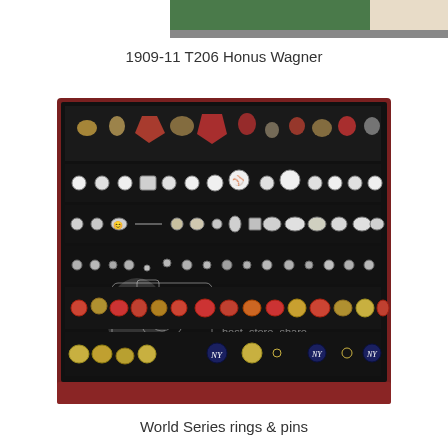[Figure (photo): Top portion of a photograph showing what appears to be a baseball card or memorabilia display with green felt background]
1909-11 T206 Honus Wagner
[Figure (photo): A large display case with a black velvet background showing numerous World Series rings and pins arranged in rows, with a Photobucket watermark overlay]
World Series rings & pins